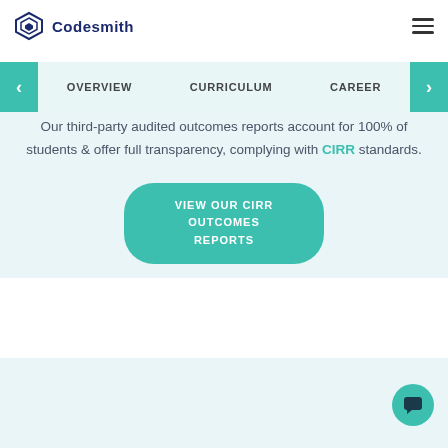Codesmith
OVERVIEW   CURRICULUM   CAREER
Our third-party audited outcomes reports account for 100% of students & offer full transparency, complying with CIRR standards.
VIEW OUR CIRR OUTCOMES REPORTS